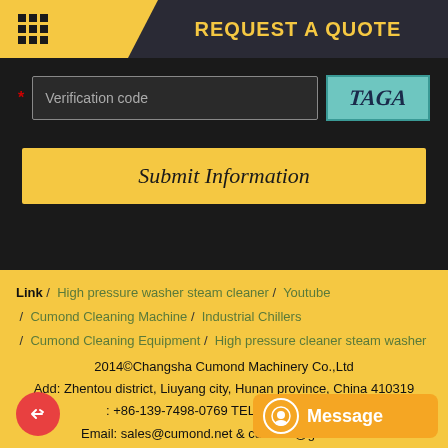REQUEST A QUOTE
[Figure (screenshot): Verification code input field with CAPTCHA image showing text 'TAGA']
Submit Information
Link / High pressure washer steam cleaner / Youtube / Cumond Cleaning Machine / Industrial Chillers / Cumond Cleaning Equipment / High pressure cleaner steam washer
2014©Changsha Cumond Machinery Co.,Ltd
Add: Zhentou district, Liuyang city, Hunan province, China 410319
:  +86-139-7498-0769 TEL: +86-731-8...n
Email: sales@cumond.net & cumond@gmail.com